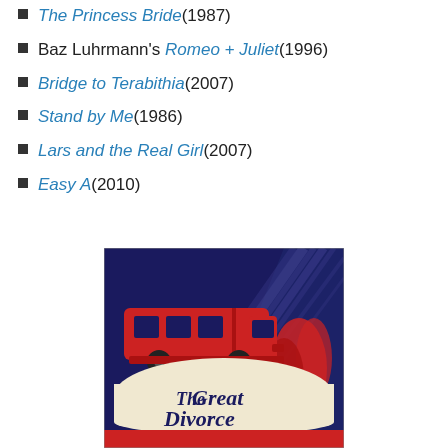The Princess Bride (1987)
Baz Luhrmann's Romeo + Juliet (1996)
Bridge to Terabithia (2007)
Stand by Me (1986)
Lars and the Real Girl (2007)
Easy A (2010)
[Figure (illustration): Book cover of 'The Great Divorce' featuring a red bus, dark blue background with light rays, and cursive title text on a cream banner, with red and blue color scheme]